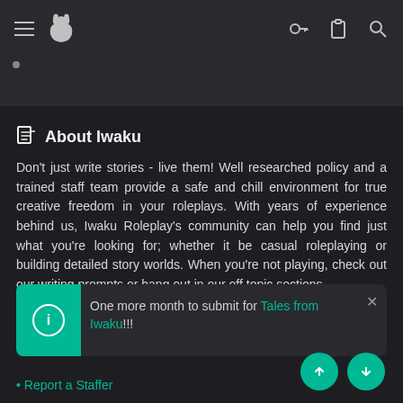Iwaku Roleplay navigation bar with hamburger menu, logo, key icon, clipboard icon, and search icon
About Iwaku
Don't just write stories - live them! Well researched policy and a trained staff team provide a safe and chill environment for true creative freedom in your roleplays. With years of experience behind us, Iwaku Roleplay's community can help you find just what you're looking for; whether it be casual roleplaying or building detailed story worlds. When you're not playing, check out our writing prompts or hang out in our off topic sections.
Useful Links
One more month to submit for Tales from Iwaku!!!
Report a Staffer